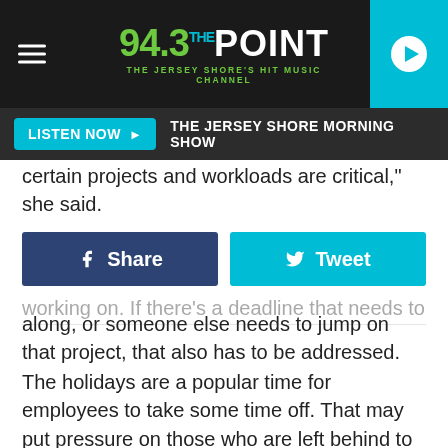[Figure (screenshot): 94.3 The Point radio station logo and navigation bar on dark background with hamburger menu and play button]
LISTEN NOW ▶  THE JERSEY SHORE MORNING SHOW
certain projects and workloads are critical," she said.
[Figure (infographic): Facebook Share and Twitter Tweet social buttons]
working on. If there's a deadline that needs to be helped along, or someone else needs to jump on that project, that also has to be addressed.
The holidays are a popular time for employees to take some time off. That may put pressure on those who are left behind to pick up the work slack.
Pre-planning is always a good thing, Onyschak said. Managers should try and find out ahead of time who is taking off and when, so everyone can anticipate the workload.